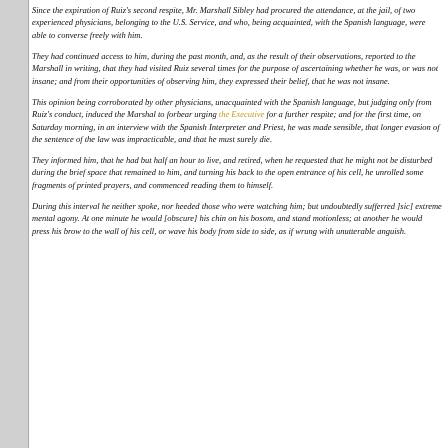Since the expiration of Ruiz's second respite, Mr. Marshall Sibley had procured the attendance, at the jail, of two experienced physicians, belonging to the U.S. Service, and who, being acquainted, with the Spanish language, were able to converse freely with him.
They had continued access to him, during the past month, and, as the result of their observations, reported to the Marshall in writing, that they had visited Ruiz several times for the purpose of ascertaining whether he was, or was not insane; and from their opportunities of observing him, they expressed their belief, that he was not insane.
This opinion being corroborated by other physicians, unacquainted with the Spanish language, but judging only from Ruiz's conduct, induced the Marshal to forbear urging the Executive for a further respite; and for the first time, on Saturday morning, in an interview with the Spanish Interpreter and Priest, he was made sensible, that longer evasion of the sentence of the law was impracticable, and that he must surely die.
They informed him, that he had but half an hour to live, and retired, when he requested that he might not be disturbed during the brief space that remained to him, and turning his back to the open entrance of his cell, he unrolled some fragments of printed prayers, and commenced reading them to himself.
During this interval he neither spoke, nor heeded those who were watching him; but undoubtedly sufferred ]sic] extreme mental agony. At one minute he would [obscure] his chin on his bosom, and stand motionless; at another he would press his brow to the wall of his cell, or wave his body from side to side, as if wrung with unutterable anguish.